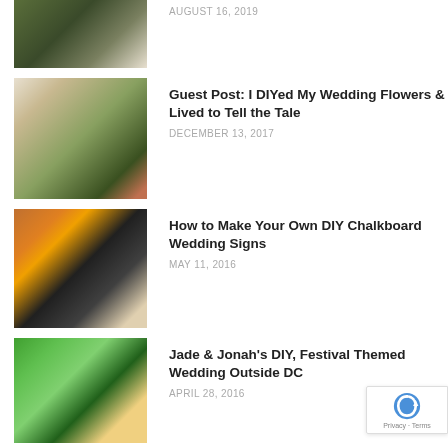[Figure (photo): Couple standing outdoors in wedding attire, partial view cropped at top]
AUGUST 16, 2019
[Figure (photo): Bride holding bouquet of white and green flowers outdoors]
Guest Post: I DIYed My Wedding Flowers & Lived to Tell the Tale
DECEMBER 13, 2017
[Figure (photo): DIY chalkboard wedding signs hanging on door with orange items]
How to Make Your Own DIY Chalkboard Wedding Signs
MAY 11, 2016
[Figure (photo): Wedding party group photo outdoors in colorful attire]
Jade & Jonah's DIY, Festival Themed Wedding Outside DC
APRIL 28, 2016